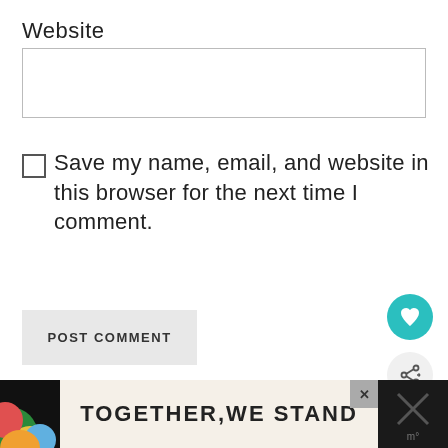Website
Save my name, email, and website in this browser for the next time I comment.
POST COMMENT
[Figure (infographic): Teal circular heart/like button icon]
[Figure (infographic): Gray circular share/network button icon]
WHAT'S NEXT → Modern Canada Day...
[Figure (infographic): Advertisement banner: colorful shapes on left, cream background with bold text TOGETHER,WE STAND, close X button, dark right panel with X mark and temperature icon]